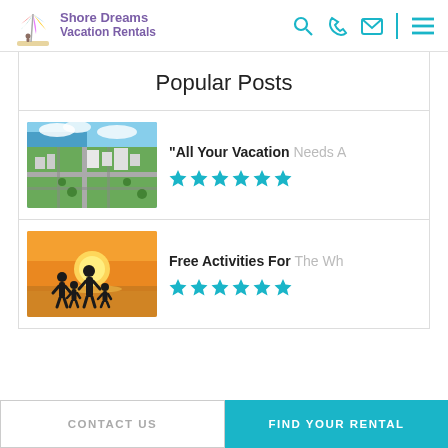[Figure (logo): Shore Dreams Vacation Rentals logo with colorful beach umbrella icon and purple text]
Popular Posts
[Figure (photo): Aerial view of a coastal city with roads, buildings, and ocean]
“All Your Vacation Needs A…
[Figure (photo): Family of four silhouetted against a sunset on the beach]
Free Activities For The Wh…
CONTACT US
FIND YOUR RENTAL